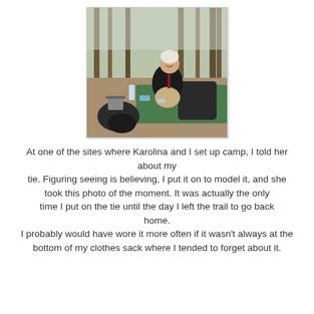[Figure (photo): A person wearing a black jacket and white beanie hat sits on a green sleeping mat in a wooded campsite, smiling at the camera. Camping gear and a backpack are visible around them. Boots appear in the foreground.]
At one of the sites where Karolina and I set up camp, I told her about my tie. Figuring seeing is believing, I put it on to model it, and she took this photo of the moment. It was actually the only time I put on the tie until the day I left the trail to go back home. I probably would have wore it more often if it wasn't always at the bottom of my clothes sack where I tended to forget about it.